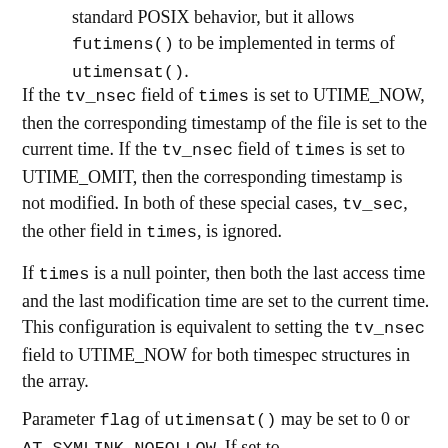standard POSIX behavior, but it allows futimens() to be implemented in terms of utimensat().
If the tv_nsec field of times is set to UTIME_NOW, then the corresponding timestamp of the file is set to the current time. If the tv_nsec field of times is set to UTIME_OMIT, then the corresponding timestamp is not modified. In both of these special cases, tv_sec, the other field in times, is ignored.
If times is a null pointer, then both the last access time and the last modification time are set to the current time. This configuration is equivalent to setting the tv_nsec field to UTIME_NOW for both timespec structures in the array.
Parameter flag of utimensat() may be set to 0 or AT_SYMLINK_NOFOLLOW. If set to